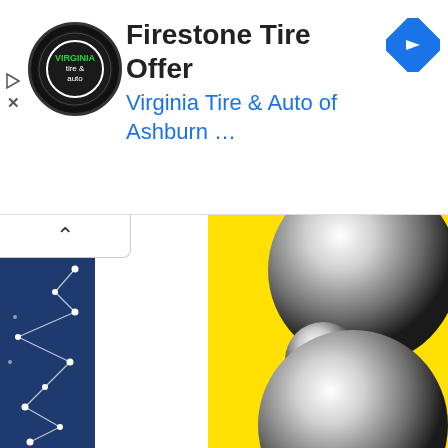[Figure (screenshot): Advertisement banner for Firestone Tire Offer from Virginia Tire & Auto of Ashburn. Contains circular logo with tire and auto branding, navigation arrow icon, play and close icons.]
Firestone Tire Offer
Virginia Tire & Auto of Ashburn ...
[Figure (screenshot): Website screenshot showing a page with dark blue left sidebar featuring white constellation dot pattern, large white main content area, and right panel with bright yellow background and three large metallic silver/chrome spheres arranged vertically.]